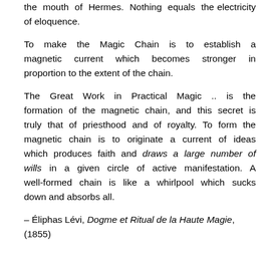the mouth of Hermes. Nothing equals the electricity of eloquence.
To make the Magic Chain is to establish a magnetic current which becomes stronger in proportion to the extent of the chain.
The Great Work in Practical Magic .. is the formation of the magnetic chain, and this secret is truly that of priesthood and of royalty. To form the magnetic chain is to originate a current of ideas which produces faith and draws a large number of wills in a given circle of active manifestation. A well-formed chain is like a whirlpool which sucks down and absorbs all.
– Éliphas Lévi, Dogme et Ritual de la Haute Magie, (1855)